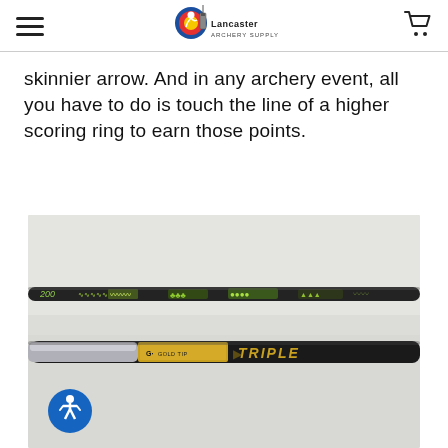Lancaster Archery Supply
skinnier arrow. And in any archery event, all you have to do is touch the line of a higher scoring ring to earn those points.
[Figure (photo): Two arrow shafts side-by-side: a thinner one (top, dark with green graphics) and a thicker one (bottom, Gold Tip Triple brand, gold and black label). Accessibility icon button visible in bottom-left of image.]